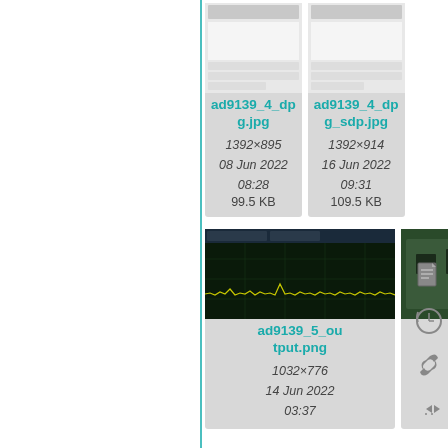[Figure (screenshot): File thumbnail for ad9139_4_dpg.jpg showing a screenshot of a software dialog]
ad9139_4_dpg.jpg
1392×895
08 Jun 2022
08:28
99.5 KB
[Figure (screenshot): File thumbnail for ad9139_4_dpg_sdp.jpg showing a screenshot of a software dialog]
ad9139_4_dpg_sdp.jpg
1392×914
16 Jun 2022
09:31
109.5 KB
[Figure (screenshot): File thumbnail for ad9139_5_output.png showing an oscilloscope/spectrum analyzer output with green trace on black background]
ad9139_5_output.png
1032×776
14 Jun 2022
03:37
[Figure (photo): File thumbnail for ad9139_ads7.jpg showing a PCB circuit board photo]
ad9139_ads7.jpg
4608×2902
14 Jun 2022
02:24